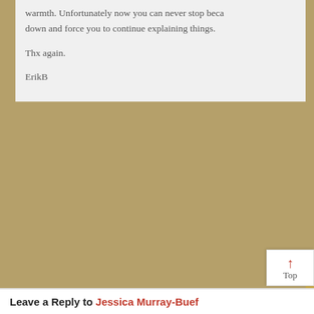warmth. Unfortunately now you can never stop because they sit down and force you to continue explaining things.

Thx again.

ErikB
May 4, 2022 at 8:44 pm
David Crowther
Thank you Eric, I'm glad it helped. I got into a bit of a j getting the pace right I think. I got into the same probl Scotland too I think – all got too complicated.
Leave a Reply to Jessica Murray-Buef